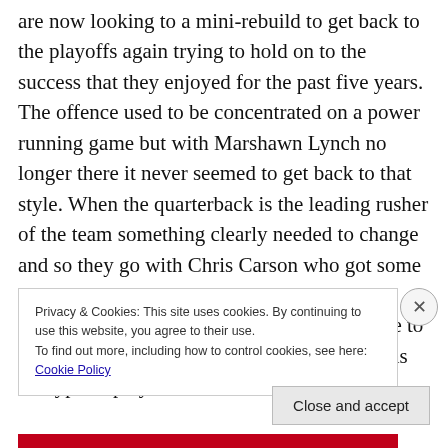are now looking to a mini-rebuild to get back to the playoffs again trying to hold on to the success that they enjoyed for the past five years. The offence used to be concentrated on a power running game but with Marshawn Lynch no longer there it never seemed to get back to that style. When the quarterback is the leading rusher of the team something clearly needed to change and so they go with Chris Carson who got some time last year but will likely take over the starting role with Rashaan Penny getting time to adjust in his first year. Russell Wilson remains the type of player that can change a game
Privacy & Cookies: This site uses cookies. By continuing to use this website, you agree to their use.
To find out more, including how to control cookies, see here: Cookie Policy
Close and accept